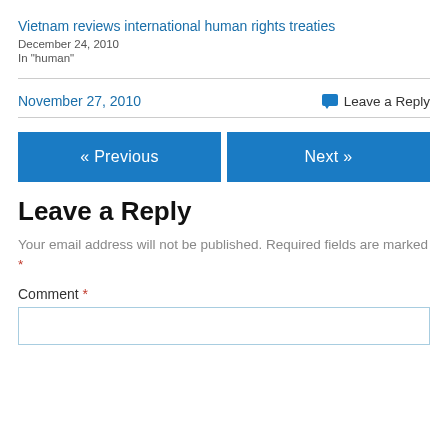Vietnam reviews international human rights treaties
December 24, 2010
In "human"
November 27, 2010
Leave a Reply
« Previous
Next »
Leave a Reply
Your email address will not be published. Required fields are marked *
Comment *